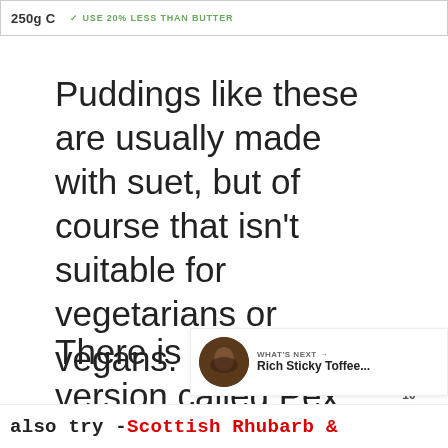[Figure (screenshot): Top banner showing '250g' product label with green text '✓ USE 20% LESS THAN BUTTER']
Puddings like these are usually made with suet, but of course that isn't suitable for vegetarians or vegans.
There is a vegan version called Pex. There may be other's but this is the only one I've found in my local supermarket.
[Figure (infographic): Floating heart (like/save) button in red circle with count 10, and a share button below]
[Figure (screenshot): What's Next panel showing 'Rich Sticky Toffee...' with thumbnail image]
also try - Scottish Rhubarb &